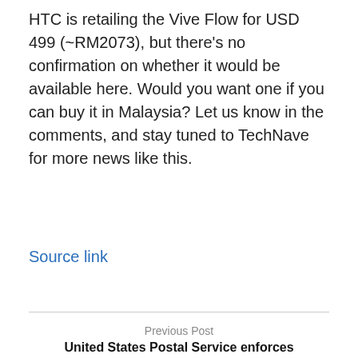HTC is retailing the Vive Flow for USD 499 (~RM2073), but there's no confirmation on whether it would be available here. Would you want one if you can buy it in Malaysia? Let us know in the comments, and stay tuned to TechNave for more news like this.
Source link
Previous Post
United States Postal Service enforces mailbox requirements | News